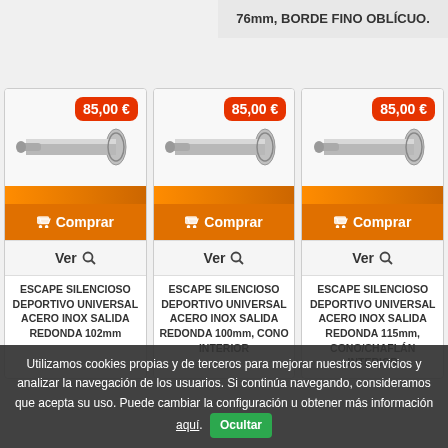76mm, BORDE FINO OBLÍCUO.
[Figure (photo): Product image of stainless steel exhaust with price badge 85,00 €]
[Figure (photo): Product image of stainless steel exhaust with price badge 85,00 €]
[Figure (photo): Product image of stainless steel exhaust with price badge 85,00 €]
ESCAPE SILENCIOSO DEPORTIVO UNIVERSAL ACERO INOX SALIDA REDONDA 102mm
ESCAPE SILENCIOSO DEPORTIVO UNIVERSAL ACERO INOX SALIDA REDONDA 100mm, CONO INTERIOR
ESCAPE SILENCIOSO DEPORTIVO UNIVERSAL ACERO INOX SALIDA REDONDA 115mm, CONO/CHAFLÁN INTERIOR
Utilizamos cookies propias y de terceros para mejorar nuestros servicios y analizar la navegación de los usuarios. Si continúa navegando, consideramos que acepta su uso. Puede cambiar la configuración u obtener más información aquí. Ocultar